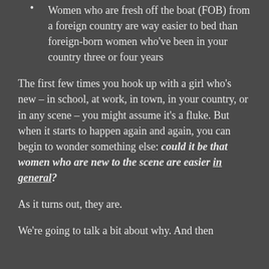Women who are fresh off the boat (FOB) from a foreign country are way easier to bed than foreign-born women who've been in your country three or four years
The first few times you hook up with a girl who's new – in school, at work, in town, in your country, or in any scene – you might assume it's a fluke. But when it starts to happen again and again, you can begin to wonder something else: could it be that women who are new to the scene are easier in general?
As it turns out, they are.
We're going to talk a bit about why. And then